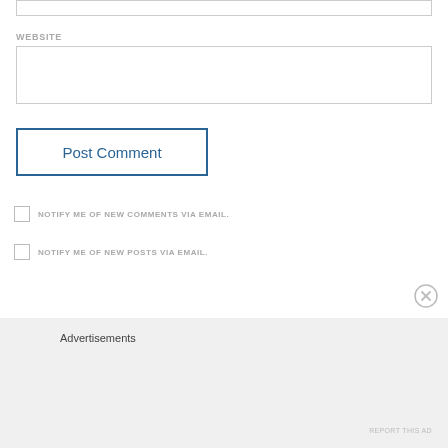WEBSITE
[Figure (screenshot): Website input text field (empty)]
[Figure (screenshot): Post Comment button with blue border]
NOTIFY ME OF NEW COMMENTS VIA EMAIL.
NOTIFY ME OF NEW POSTS VIA EMAIL.
Advertisements
REPORT THIS AD